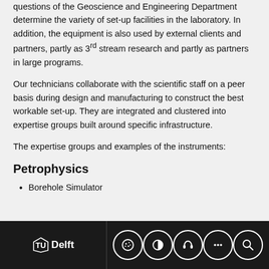questions of the Geoscience and Engineering Department determine the variety of set-up facilities in the laboratory. In addition, the equipment is also used by external clients and partners, partly as 3rd stream research and partly as partners in large programs.
Our technicians collaborate with the scientific staff on a peer basis during design and manufacturing to construct the best workable set-up. They are integrated and clustered into expertise groups built around specific infrastructure.
The expertise groups and examples of the instruments:
Petrophysics
Borehole Simulator
TU Delft footer with navigation icons